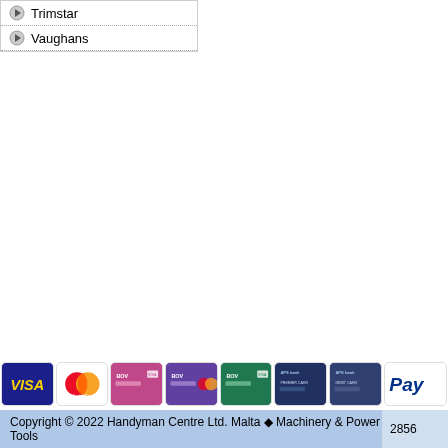Trimstar
Vaughans
[Figure (other): Payment method icons: Visa, MasterCard, BOV debit card (pink), BOV credit card (purple), BOV card (green), APS Bank Premier Card, APS Bank Debit Card, PayPal]
Copyright © 2022 Handyman Centre Ltd. Malta ◆ Machinery & Power Tools  2856